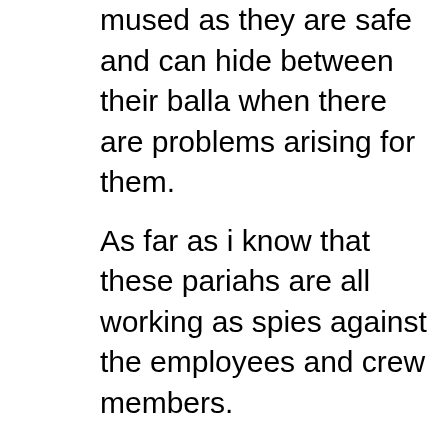mused as they are safe and can hide between their balla when there are problems arising for them.
As far as i know that these pariahs are all working as spies against the employees and crew members.
Those maseu kakis kena tangkap and charged for misconduct escape punishment! So what are they for? Sucking their balls??
Please check all these pariahs and exposed their names -: ie Pauline ( a pros..ute for malek) Gerald Loudspeaker Big Mother f..ker who is the mouth piece of maseu ), a pariah and a dog who have got anti Malay sentiment, Ungku Yuzaph ( a pariah